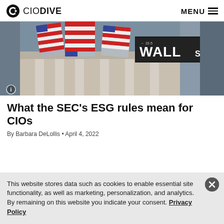CIO DIVE | MENU
[Figure (photo): Wall Street sign with American flags in front of a classical building facade]
What the SEC's ESG rules mean for CIOs
By Barbara DeLollis • April 4, 2022
This website stores data such as cookies to enable essential site functionality, as well as marketing, personalization, and analytics. By remaining on this website you indicate your consent. Privacy Policy